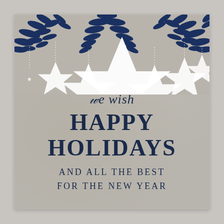[Figure (illustration): Holiday greeting card with kraft paper background, dark navy pine/olive branches hanging from top, white hanging stars on dotted strings, and holiday text.]
We wish HAPPY HOLIDAYS AND ALL THE BEST FOR THE NEW YEAR